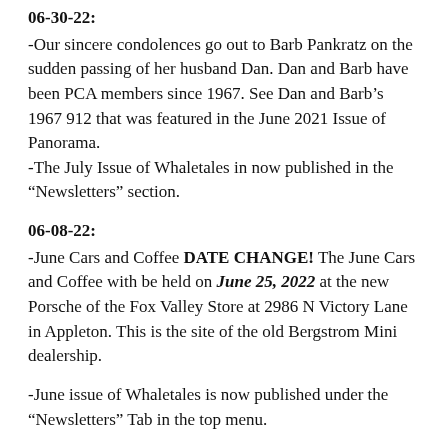06-30-22:
-Our sincere condolences go out to Barb Pankratz on the sudden passing of her husband Dan.  Dan and Barb have been PCA members since 1967.  See Dan and Barb's 1967 912 that was featured in the June 2021 Issue of Panorama.
-The July Issue of Whaletales in now published in the “Newsletters” section.
06-08-22:
-June Cars and Coffee DATE CHANGE! The June Cars and Coffee with be held on June 25, 2022 at the new Porsche of the Fox Valley Store at 2986 N Victory Lane in Appleton. This is the site of the old Bergstrom Mini dealership.
-June issue of Whaletales is now published under the “Newsletters” Tab in the top menu.
05-27-22: